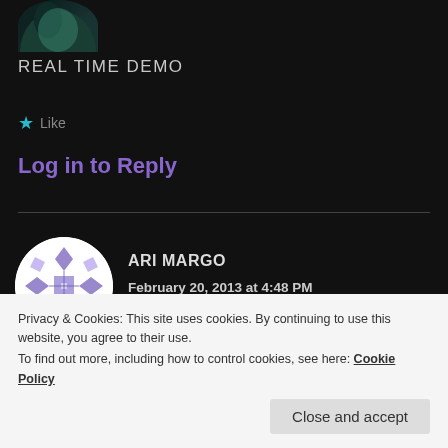[Figure (photo): Partial avatar image at top, cropped circle showing dark teal/green color at top of page]
REAL TIME DEMO
★ Like
Log in to Reply
[Figure (illustration): Round avatar with purple/lavender geometric snowflake/quilt pattern on white background for user Ari Margo]
ARI MARGO
February 20, 2013 at 4:48 PM
Watch Dogs is still the next gen game I'm most looking forward to. This game speaks for itself
Privacy & Cookies: This site uses cookies. By continuing to use this website, you agree to their use.
To find out more, including how to control cookies, see here: Cookie Policy
Close and accept